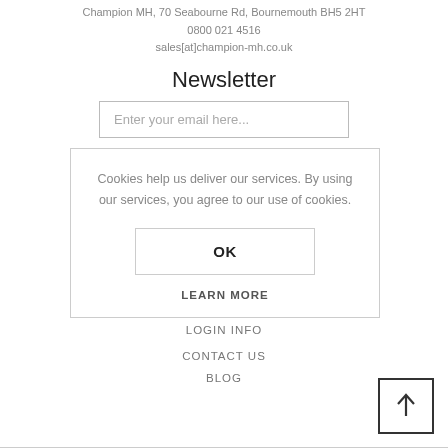Champion MH, 70 Seabourne Rd, Bournemouth BH5 2HT
0800 021 4516
sales[at]champion-mh.co.uk
Newsletter
Enter your email here...
Cookies help us deliver our services. By using our services, you agree to our use of cookies.
OK
LEARN MORE
LOGIN INFO
CONTACT US
BLOG